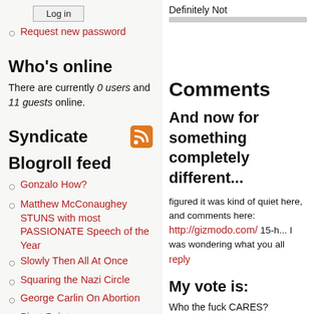Log in
Request new password
Who's online
There are currently 0 users and 11 guests online.
Syndicate
Blogroll feed
Gonzalo How?
Matthew McConaughey STUNS with most PASSIONATE Speech of the Year
Slowly Then All At Once
Squaring the Nazi Circle
George Carlin On Abortion
Pivot Point
Tidy Up Time. A fond farewell to
Definitely Not
Comments
And now for something completely different...
figured it was kind of quiet here, and comments here: http://gizmodo.com/ 15-h... I was wondering what you all
reply
My vote is:
Who the fuck CARES?
reply